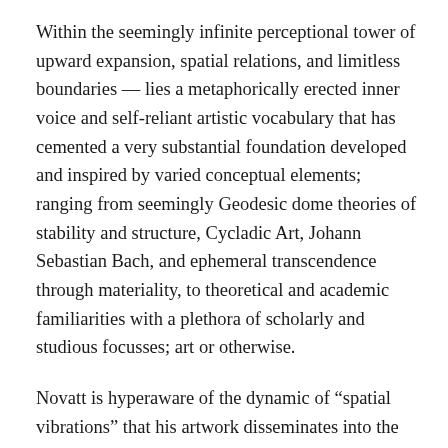Within the seemingly infinite perceptional tower of upward expansion, spatial relations, and limitless boundaries — lies a metaphorically erected inner voice and self-reliant artistic vocabulary that has cemented a very substantial foundation developed and inspired by varied conceptual elements; ranging from seemingly Geodesic dome theories of stability and structure, Cycladic Art, Johann Sebastian Bach, and ephemeral transcendence through materiality, to theoretical and academic familiarities with a plethora of scholarly and studious focusses; art or otherwise.
Novatt is hyperaware of the dynamic of “spatial vibrations” that his artwork disseminates into the cosmic heavens but pulls back with methodical force to constrain the materiality, and pontificates on “space as form” with a clear discernment for perceived as well as physical balance.